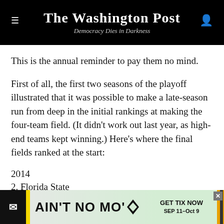The Washington Post — Democracy Dies in Darkness
This is the annual reminder to pay them no mind.
First of all, the first two seasons of the playoff illustrated that it was possible to make a late-season run from deep in the initial rankings at making the four-team field. (It didn't work out last year, as high-end teams kept winning.) Here's where the final fields ranked at the start:
2014
2. Florida State
5. Oregon
[Figure (other): Advertisement banner for 'Ain't No Mo'' show with 'GET TIX NOW SEP 11–Oct 9' text]